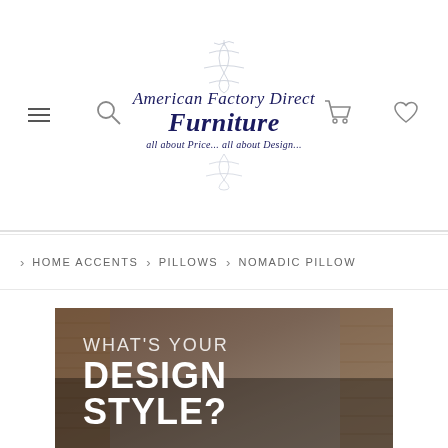[Figure (logo): American Factory Direct Furniture logo with script text, bold italic 'Furniture', tagline 'all about Price... all about Design...', decorative flourish, navigation icons (hamburger menu, search, cart, wishlist)]
> HOME ACCENTS > PILLOWS > NOMADIC PILLOW
[Figure (photo): Hero banner image of home furnishings/pillows with overlaid text 'WHAT'S YOUR DESIGN STYLE?']